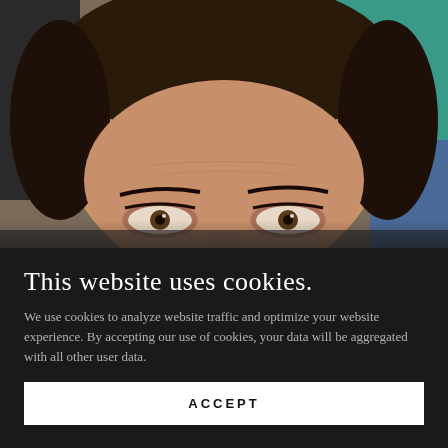[Figure (photo): Close-up photo of a woman's face showing eyes and forehead, with dark brown hair pulled up, looking directly at camera. Background shows colorful blurred elements including teal and blue tones.]
This website uses cookies.
We use cookies to analyze website traffic and optimize your website experience. By accepting our use of cookies, your data will be aggregated with all other user data.
ACCEPT